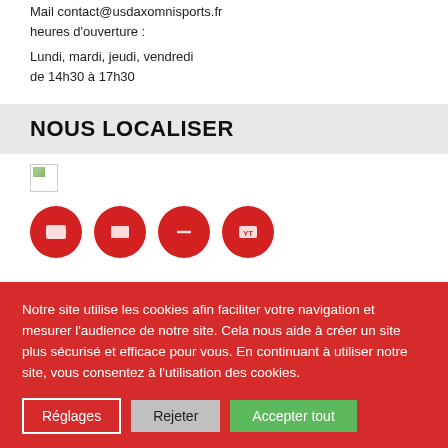Mail contact@usdaxomnisports.fr
heures d'ouverture :
Lundi, mardi, jeudi, vendredi
de 14h30 à 17h30
NOUS LOCALISER
[Figure (photo): Broken image placeholder (map or location image)]
[Figure (infographic): Row of four red circular social media icon buttons]
Notre site utilise les cookies afin faciliter votre navigation et mesurer l'audience de notre site. Cela nous aide à créer un site plus sécurisé et efficace pour vous. En continuant à utiliser notre site, vous consentez à l'utilisation des cookies.
Réglages   Rejeter   Accepter tout